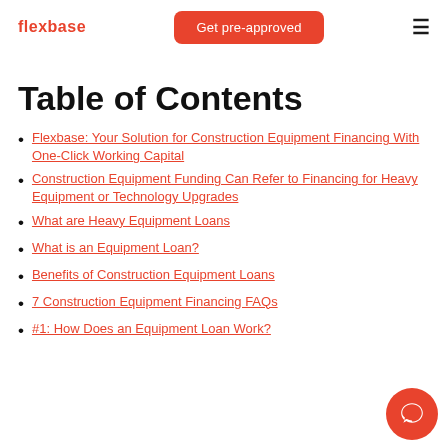flexbase | Get pre-approved | ≡
Table of Contents
Flexbase: Your Solution for Construction Equipment Financing With One-Click Working Capital
Construction Equipment Funding Can Refer to Financing for Heavy Equipment or Technology Upgrades
What are Heavy Equipment Loans
What is an Equipment Loan?
Benefits of Construction Equipment Loans
7 Construction Equipment Financing FAQs
#1: How Does an Equipment Loan Work?